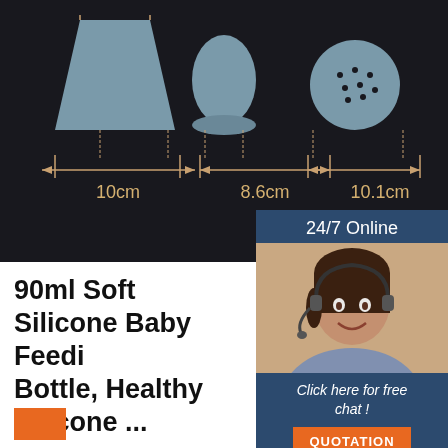[Figure (photo): Product dimension image showing three silicone baby feeding bottle components on dark background with measurements: 10cm, 8.6cm, 10.1cm]
[Figure (photo): Customer service chat widget showing a woman with headset, '24/7 Online' label, 'Click here for free chat!' text, and orange QUOTATION button]
90ml Soft Silicone Baby Feeding Bottle, Healthy Silicone ...
wholeslae 3oz/90ml Food Grade Silicone Baby Feeding Bottle FeederMOQ:100pcsColor:4colors availabesize:90mlSpoon:So. ... 90ml Soft Silicone Baby Feeding Bottle, Healthy Silicone Squeeze Feeder with Baby Spoon. ... 8oz Wide Neck Plastic Milk Baby Feeding